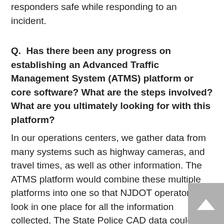responders safe while responding to an incident.
Q.  Has there been any progress on establishing an Advanced Traffic Management System (ATMS) platform or core software? What are the steps involved? What are you ultimately looking for with this platform?
In our operations centers, we gather data from many systems such as highway cameras, and travel times, as well as other information. The ATMS platform would combine these multiple platforms into one so that NJDOT operators can look in one place for all the information collected. The State Police CAD data could be included in this